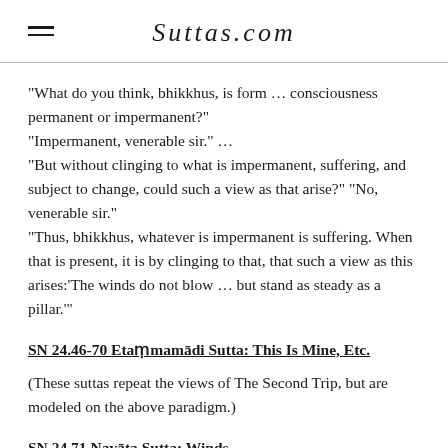Suttas.com
"What do you think, bhikkhus, is form … consciousness permanent or impermanent?"
"Impermanent, venerable sir." …
"But without clinging to what is impermanent, suffering, and subject to change, could such a view as that arise?" "No, venerable sir."
"Thus, bhikkhus, whatever is impermanent is suffering. When that is present, it is by clinging to that, that such a view as this arises:'The winds do not blow … but stand as steady as a pillar.'"
SN 24.46-70 Etaṃmamādi Sutta: This Is Mine, Etc.
(These suttas repeat the views of The Second Trip, but are modeled on the above paradigm.)
SN 24.71 Navāta Sutta: Winds